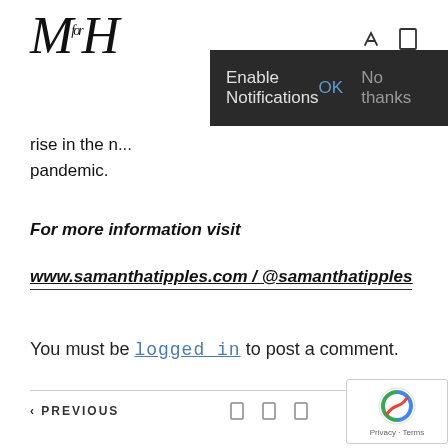M for H
[Figure (screenshot): Enable Notifications popup bar with OK and No thanks buttons on dark background]
rise in the n... pandemic.
For more information visit
www.samanthatipples.com / @samanthatipples
You must be logged in to post a comment.
< PREVIOUS